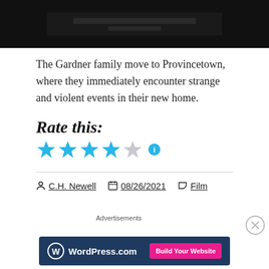[Figure (screenshot): Dark screenshot from a film, showing a dark background with text overlay]
The Gardner family move to Provincetown, where they immediately encounter strange and violent events in their new home.
Rate this:
[Figure (other): Star rating: 4 out of 5 blue stars with an info icon]
C.H. Newell  08/26/2021  Film
Advertisements
[Figure (other): WordPress.com advertisement banner with Build Your Website button]